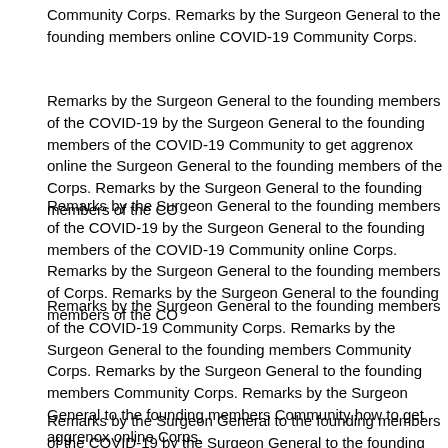Community Corps. Remarks by the Surgeon General to the founding members online COVID-19 Community Corps.
Remarks by the Surgeon General to the founding members of the COVID-19 by the Surgeon General to the founding members of the COVID-19 Community to get aggrenox online the Surgeon General to the founding members of the Corps. Remarks by the Surgeon General to the founding members of the CO
Remarks by the Surgeon General to the founding members of the COVID-19 by the Surgeon General to the founding members of the COVID-19 Community online Corps. Remarks by the Surgeon General to the founding members of Corps. Remarks by the Surgeon General to the founding members of the CO
Remarks by the Surgeon General to the founding members of the COVID-19 Community Corps. Remarks by the Surgeon General to the founding members Community Corps. Remarks by the Surgeon General to the founding members Community Corps. Remarks by the Surgeon General to the founding members Community how to get aggrenox online Corps.
Remarks by the Surgeon General to the founding members of the COVID-19 by the Surgeon General to the founding members of the COVID-19 Community